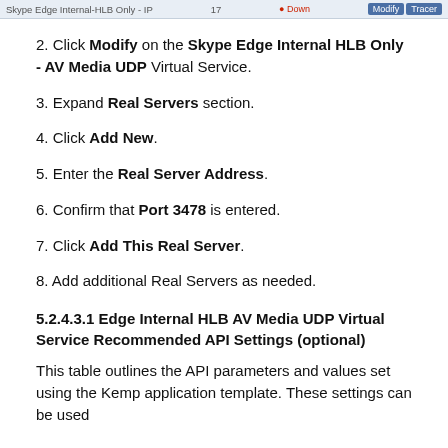Skype Edge Internal-HLB Only - IP  17  Down  Modify Tracer
2. Click Modify on the Skype Edge Internal HLB Only - AV Media UDP Virtual Service.
3. Expand Real Servers section.
4. Click Add New.
5. Enter the Real Server Address.
6. Confirm that Port 3478 is entered.
7. Click Add This Real Server.
8. Add additional Real Servers as needed.
5.2.4.3.1 Edge Internal HLB AV Media UDP Virtual Service Recommended API Settings (optional)
This table outlines the API parameters and values set using the Kemp application template. These settings can be used